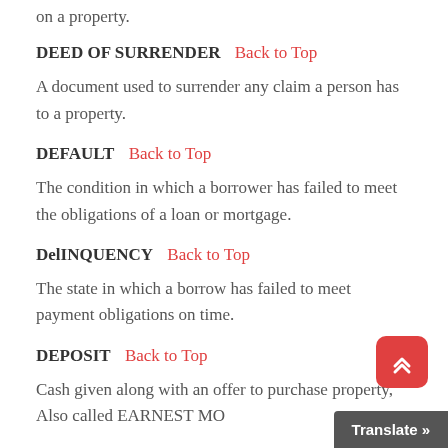on a property.
DEED OF SURRENDER  Back to Top
A document used to surrender any claim a person has to a property.
DEFAULT  Back to Top
The condition in which a borrower has failed to meet the obligations of a loan or mortgage.
DelINQUENCY  Back to Top
The state in which a borrow has failed to meet payment obligations on time.
DEPOSIT  Back to Top
Cash given along with an offer to purchase property, Also called EARNEST MO...